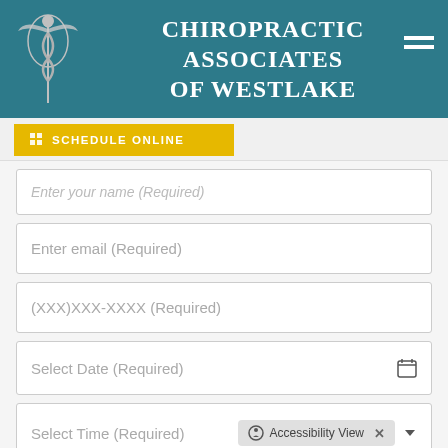[Figure (logo): Chiropractic Associates of Westlake header with logo and navigation]
SCHEDULE ONLINE
Enter your name (Required)
Enter email (Required)
(XXX)XXX-XXXX (Required)
Select Date (Required)
Select Time (Required)
Accessibility View